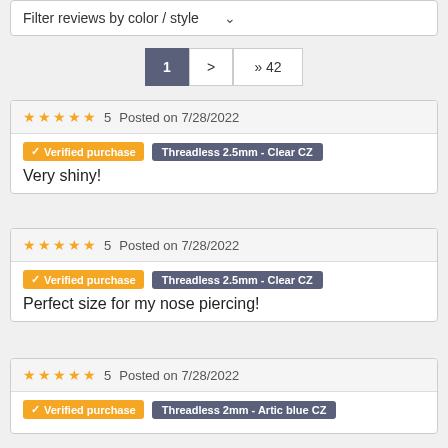Filter reviews by color / style
1  >  >> 42
★★★★★ 5  Posted on 7/28/2022
Verified purchase  Threadless 2.5mm - Clear CZ
Very shiny!
★★★★★ 5  Posted on 7/28/2022
Verified purchase  Threadless 2.5mm - Clear CZ
Perfect size for my nose piercing!
★★★★★ 5  Posted on 7/28/2022
Verified purchase  Threadless 2mm - Artic blue CZ